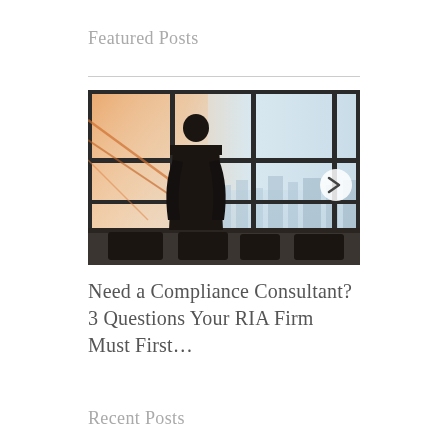Featured Posts
[Figure (photo): Silhouette of a businessman in a suit standing in a large conference room with floor-to-ceiling windows overlooking a city skyline. Warm orange light comes from the left. A navigation arrow pointing right is visible on the right side of the image. Dark chairs are visible along the bottom.]
Need a Compliance Consultant? 3 Questions Your RIA Firm Must First…
Recent Posts